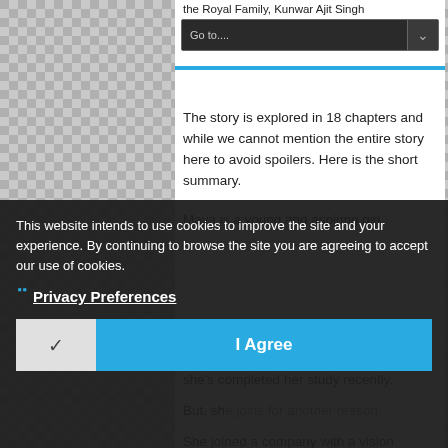Go to....
the Royal Family, Kunwar Ajit Singh and others.
The story is explored in 18 chapters and while we cannot mention the entire story here to avoid spoilers. Here is the short summary.
Maya is a young and aspiring girl who wants to make good (if not big) name for herself and gain experience as she's completed her study recently. But, she joins for another reason. She joined a company with a vision to do something special but she got good senior colleagues and others who...
This website intends to use cookies to improve the site and your experience. By continuing to browse the site you are agreeing to accept our use of cookies.
Privacy Preferences
I Agree